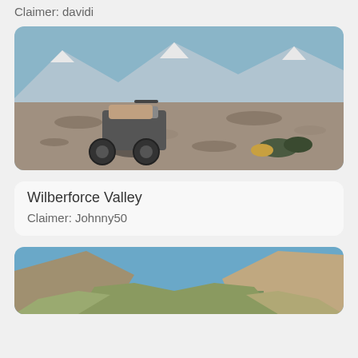Claimer: davidi
[Figure (photo): Motorcycle parked on a rocky riverbed with mountains and snow-capped peaks in the background. A helmet and gear are on the ground to the right.]
Wilberforce Valley
Claimer: Johnny50
[Figure (photo): Mountain valley landscape with a lake/river visible in the middle distance, surrounded by brown-green grassy slopes and mountains on both sides under a blue sky.]